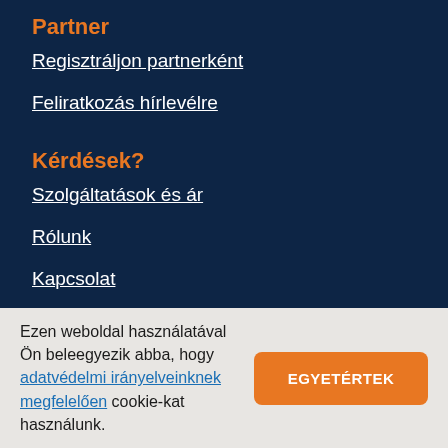Partner
Regisztráljon partnerként
Feliratkozás hírlevélre
Kérdések?
Szolgáltatások és ár
Rólunk
Kapcsolat
Ezen weboldal használatával Ön beleegyezik abba, hogy adatvédelmi irányelveinknek megfelelően cookie-kat használunk.
EGYETÉRTEK